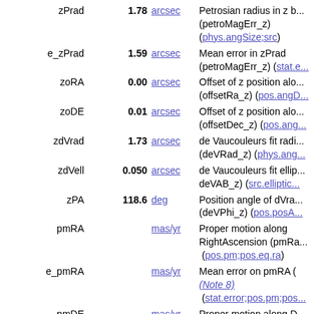| Name | Value | Unit | Description |
| --- | --- | --- | --- |
| zPrad | 1.78 | arcsec | Petrosian radius in z band (petroMagErr_z) (phys.angSize;src) |
| e_zPrad | 1.59 | arcsec | Mean error in zPrad (petroMagErr_z) (stat.e...) |
| zoRA | 0.00 | arcsec | Offset of z position along RA (offsetRa_z) (pos.angD...) |
| zoDE | 0.01 | arcsec | Offset of z position along Dec (offsetDec_z) (pos.ang...) |
| zdVrad | 1.73 | arcsec | de Vaucouleurs fit radius (deVRad_z) (phys.ang...) |
| zdVell | 0.050 | arcsec | de Vaucouleurs fit ellipticity deVAB_z) (src.elliptic...) |
| zPA | 118.6 | deg | Position angle of dVrad (deVPhi_z) (pos.posA...) |
| pmRA |  | mas/yr | Proper motion along RightAscension (pmRa) (pos.pm;pos.eq.ra) |
| e_pmRA |  | mas/yr | Mean error on pmRA (Note 8) (stat.error;pos.pm;pos...) |
| pmDE |  | mas/yr | Proper motion along Dec (pmDec) (Note 8) |